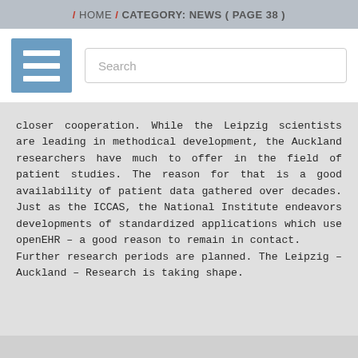/ HOME / CATEGORY: NEWS ( PAGE 38 )
closer cooperation. While the Leipzig scientists are leading in methodical development, the Auckland researchers have much to offer in the field of patient studies. The reason for that is a good availability of patient data gathered over decades. Just as the ICCAS, the National Institute endeavors developments of standardized applications which use openEHR – a good reason to remain in contact.
Further research periods are planned. The Leipzig – Auckland – Research is taking shape.